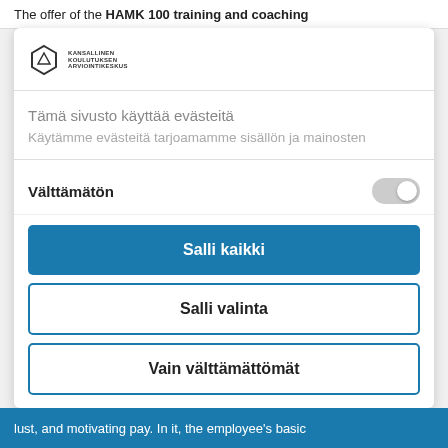The offer of the HAMK 100 training and coaching
[Figure (logo): Kansallinen Koulutuksen Arviointikeskus logo - hexagon icon with text]
Tämä sivusto käyttää evästeitä
Käytämme evästeitä tarjoamamme sisällön ja mainosten
Välttämätön
Salli kaikki
Salli valinta
Vain välttämättömät
lust, and motivating pay. In it, the employee's basic